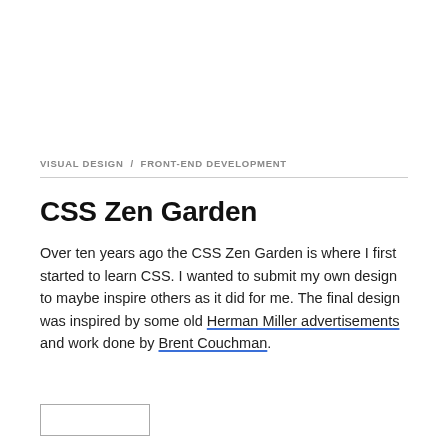VISUAL DESIGN / FRONT-END DEVELOPMENT
CSS Zen Garden
Over ten years ago the CSS Zen Garden is where I first started to learn CSS. I wanted to submit my own design to maybe inspire others as it did for me. The final design was inspired by some old Herman Miller advertisements and work done by Brent Couchman.